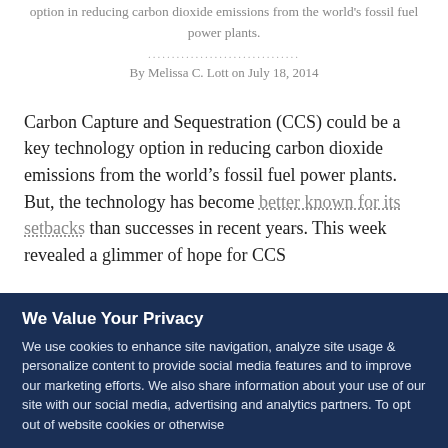option in reducing carbon dioxide emissions from the world's fossil fuel power plants.
By Melissa C. Lott on July 18, 2014
Carbon Capture and Sequestration (CCS) could be a key technology option in reducing carbon dioxide emissions from the world’s fossil fuel power plants. But, the technology has become better known for its setbacks than successes in recent years. This week revealed a glimmer of hope for CCS
We Value Your Privacy
We use cookies to enhance site navigation, analyze site usage & personalize content to provide social media features and to improve our marketing efforts. We also share information about your use of our site with our social media, advertising and analytics partners. To opt out of website cookies or otherwise